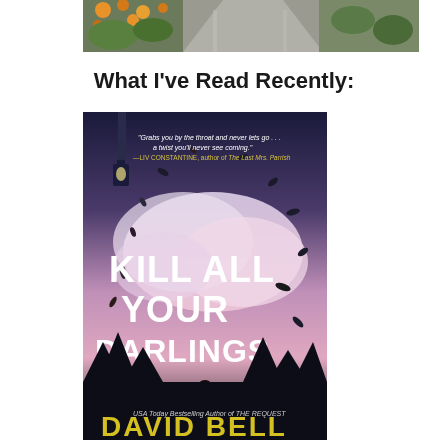[Figure (photo): Partial photo of a pathway with plants/flowers on the side, cropped at the top of the page]
What I've Read Recently:
[Figure (photo): Book cover of 'Kill All Your Darlings' by David Bell. Cover shows a dark thriller aesthetic with a figure standing against a pink/blue sky with birds/leaves flying. Quote reads: 'Grabs you by the throat and never lets go... a twist you'll never see coming.' —LIV CONSTANTINE, author of The Last Mrs. Parrish. USA Today Bestselling Author of THE REQUEST. Author name DAVID BELL in yellow text.]